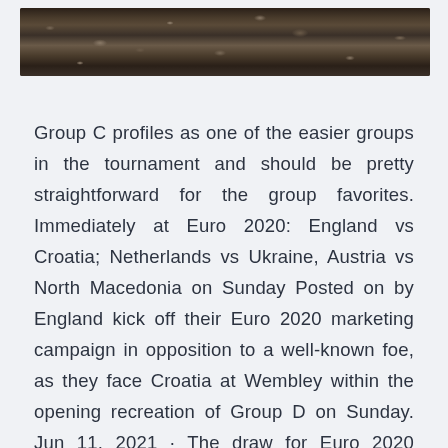[Figure (photo): A photo strip showing rocky/earthy ground with debris, rendered at the top of the page]
Group C profiles as one of the easier groups in the tournament and should be pretty straightforward for the group favorites. Immediately at Euro 2020: England vs Croatia; Netherlands vs Ukraine, Austria vs North Macedonia on Sunday Posted on by England kick off their Euro 2020 marketing campaign in opposition to a well-known foe, as they face Croatia at Wembley within the opening recreation of Group D on Sunday. Jun 11, 2021 · The draw for Euro 2020 qualifiers round took place on Sunday, December 2, 2018. This Euro 2020 Qualifier Matches draw to be held in Ireland at the Convention Centre Dublin and proceedings will get started at 11am GMT (6am ET). Nov 30, 2019 · The draw for UEFA Euro 2020 took place on Sunday.